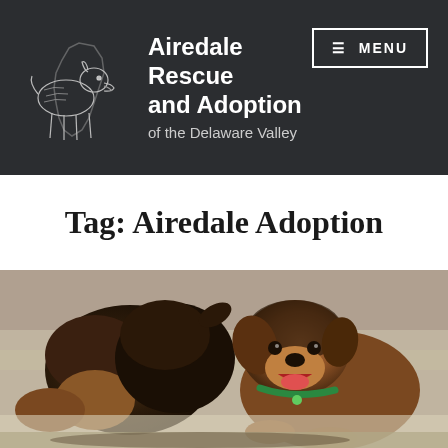Airedale Rescue and Adoption of the Delaware Valley
Tag: Airedale Adoption
[Figure (photo): Two Airedale Terrier dogs on a rug/carpet. One faces away showing its black and tan back, the other faces the camera with mouth open, wearing a green collar.]